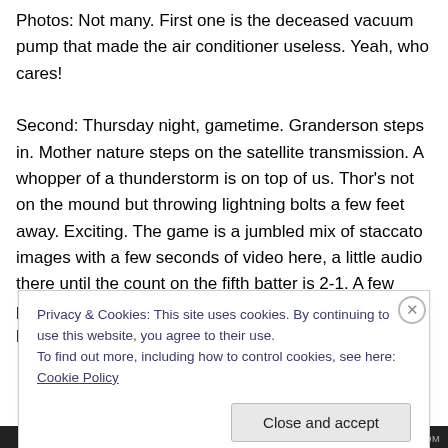Photos: Not many. First one is the deceased vacuum pump that made the air conditioner useless. Yeah, who cares!
Second: Thursday night, gametime. Granderson steps in. Mother nature steps on the satellite transmission. A whopper of a thunderstorm is on top of us. Thor's not on the mound but throwing lightning bolts a few feet away. Exciting. The game is a jumbled mix of staccato images with a few seconds of video here, a little audio there until the count on the fifth batter is 2-1. A few pitches later Lucas Duda struck with some lightning of his own. The
Privacy & Cookies: This site uses cookies. By continuing to use this website, you agree to their use.
To find out more, including how to control cookies, see here: Cookie Policy
Close and accept